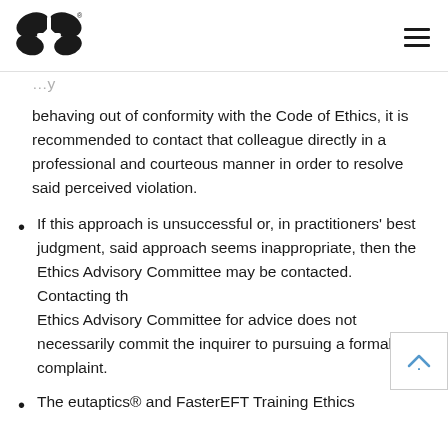[eutaptics logo] [hamburger menu]
behaving out of conformity with the Code of Ethics, it is recommended to contact that colleague directly in a professional and courteous manner in order to resolve said perceived violation.
If this approach is unsuccessful or, in practitioners' best judgment, said approach seems inappropriate, then the Ethics Advisory Committee may be contacted. Contacting the Ethics Advisory Committee for advice does not necessarily commit the inquirer to pursuing a formal complaint.
The eutaptics® and FasterEFT Training Ethics